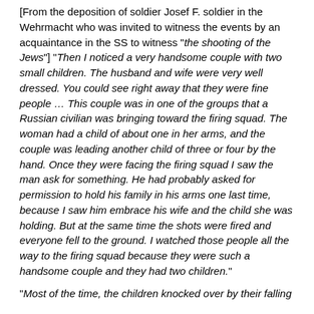[From the deposition of soldier Josef F. soldier in the Wehrmacht who was invited to witness the events by an acquaintance in the SS to witness "the shooting of the Jews"] "Then I noticed a very handsome couple with two small children. The husband and wife were very well dressed. You could see right away that they were fine people … This couple was in one of the groups that a Russian civilian was bringing toward the firing squad. The woman had a child of about one in her arms, and the couple was leading another child of three or four by the hand. Once they were facing the firing squad I saw the man ask for something. He had probably asked for permission to hold his family in his arms one last time, because I saw him embrace his wife and the child she was holding. But at the same time the shots were fired and everyone fell to the ground. I watched those people all the way to the firing squad because they were such a handsome couple and they had two children."
"Most of the time, the children knocked over by their falling